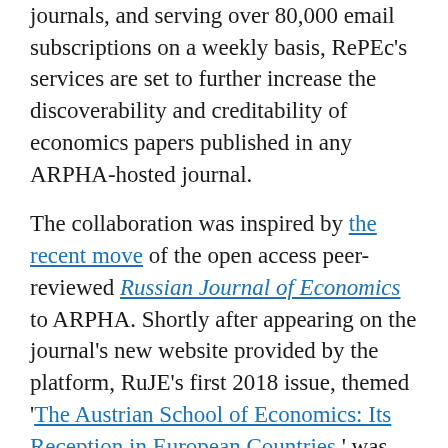journals, and serving over 80,000 email subscriptions on a weekly basis, RePEc's services are set to further increase the discoverability and creditability of economics papers published in any ARPHA-hosted journal.
The collaboration was inspired by the recent move of the open access peer-reviewed Russian Journal of Economics to ARPHA. Shortly after appearing on the journal's new website provided by the platform, RuJE's first 2018 issue, themed 'The Austrian School of Economics: Its Reception in European Countries,' was also available via the RePEc's web interfaces, including IDEAS.
“Having added yet another web-service